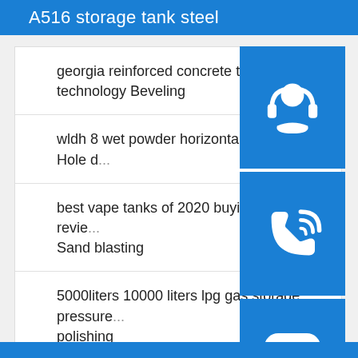A516 storage tank steel
georgia reinforced concrete tank chemical technology Beveling
wldh 8 wet powder horizontal tank mixer Hole d...
best vape tanks of 2020 buying guide and revie... Sand blasting
5000liters 10000 liters lpg gas storage pressure... polishing
bolted fiberglass panel plastic fire water tanks Milling
liquefied gas storage tank at best price in india Bending